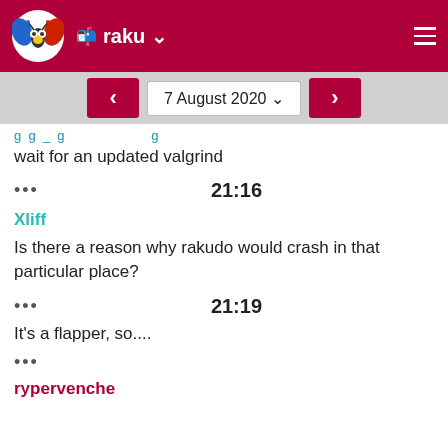raku
wait for an updated valgrind
••• 21:16
Xliff
Is there a reason why rakudo would crash in that particular place?
••• 21:19
It's a flapper, so....
•••
rypervenche